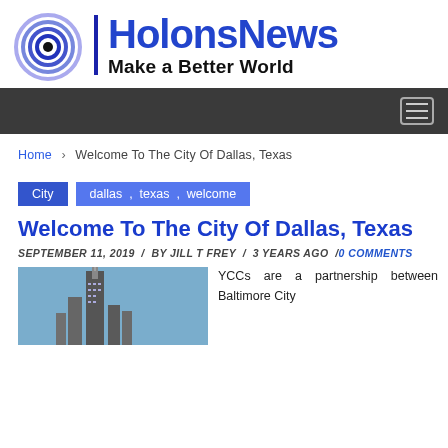[Figure (logo): HolonsNews logo with spiral graphic and tagline 'Make a Better World']
Navigation bar with hamburger menu icon
Home > Welcome To The City Of Dallas, Texas
City  dallas , texas , welcome
Welcome To The City Of Dallas, Texas
SEPTEMBER 11, 2019 / BY JILL T FREY / 3 YEARS AGO / 0 COMMENTS
[Figure (photo): Photo of a tall skyscraper against a blue sky, Dallas Texas cityscape]
YCCs are a partnership between Baltimore City